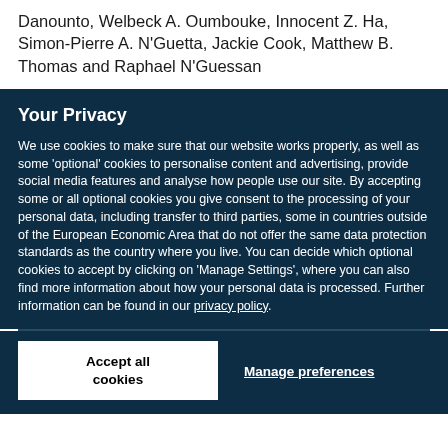Danounto, Welbeck A. Oumbouke, Innocent Z. Ha, Simon-Pierre A. N'Guetta, Jackie Cook, Matthew B. Thomas and Raphael N'Guessan
Your Privacy
We use cookies to make sure that our website works properly, as well as some 'optional' cookies to personalise content and advertising, provide social media features and analyse how people use our site. By accepting some or all optional cookies you give consent to the processing of your personal data, including transfer to third parties, some in countries outside of the European Economic Area that do not offer the same data protection standards as the country where you live. You can decide which optional cookies to accept by clicking on 'Manage Settings', where you can also find more information about how your personal data is processed. Further information can be found in our privacy policy.
Accept all cookies
Manage preferences